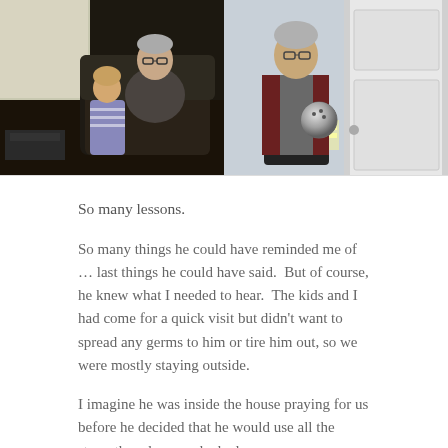[Figure (photo): Two side-by-side photos. Left: An older man with glasses sitting in a recliner chair, with a young girl sitting beside him. Right: An older man with glasses and gray hair standing in a doorway holding a shiny ball, wearing a maroon shirt and gray vest.]
So many lessons.
So many things he could have reminded me of … last things he could have said.  But of course, he knew what I needed to hear.  The kids and I had come for a quick visit but didn't want to spread any germs to him or tire him out, so we were mostly staying outside.
I imagine he was inside the house praying for us before he decided that he would use all the strength and energy he had